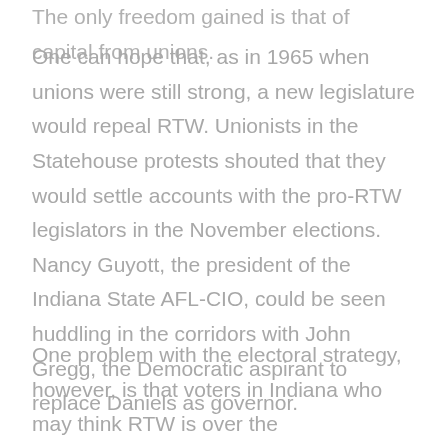The only freedom gained is that of capital from unions.
One can hope that, as in 1965 when unions were still strong, a new legislature would repeal RTW. Unionists in the Statehouse protests shouted that they would settle accounts with the pro-RTW legislators in the November elections. Nancy Guyott, the president of the Indiana State AFL-CIO, could be seen huddling in the corridors with John Gregg, the Democratic aspirant to replace Daniels as governor.
One problem with the electoral strategy, however, is that voters in Indiana who may think RTW is over the